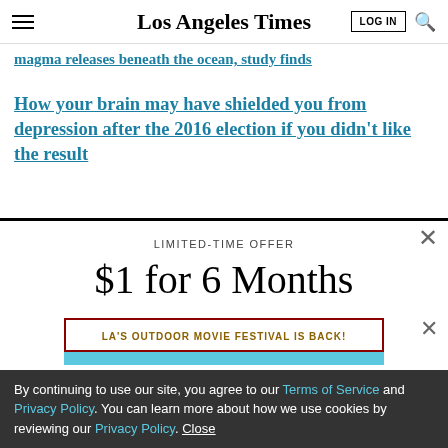Los Angeles Times
magma releases beneath the ocean, study finds
How your brain may have shielded you from depression after the 2016 election if you didn't like the result
LIMITED-TIME OFFER
$1 for 6 Months
SUBSCRIBE NOW
LA'S OUTDOOR MOVIE FESTIVAL IS BACK!
By continuing to use our site, you agree to our Terms of Service and Privacy Policy. You can learn more about how we use cookies by reviewing our Privacy Policy. Close